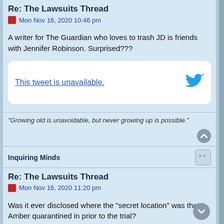Re: The Lawsuits Thread
Mon Nov 16, 2020 10:46 pm
A writer for The Guardian who loves to trash JD is friends with Jennifer Robinson. Surprised???
[Figure (screenshot): Embedded tweet placeholder showing 'This tweet is unavailable.' with Twitter bird icon]
“Growing old is unavoidable, but never growing up is possible.”
Inquiring Minds
Re: The Lawsuits Thread
Mon Nov 16, 2020 11:20 pm
Was it ever disclosed where the "secret location" was that Amber quarantined in prior to the trial?
Where was it? Was it a rented property or was she guest of anyone? Did Julius meet Amber during summer at the mid-trial dinner party or was it during some weekend away in the